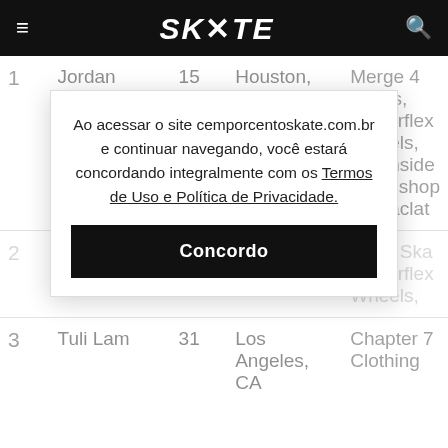≡  SKATE  🔍
| # | Name | Age | City | Brands |
| --- | --- | --- | --- | --- |
| 1 | Jordan Santana | 15 | Houston, TX | Merge 4 Socks, Powerflex Wheels, Southside Skateshop, Rastaclat |
| 2 | Michelle Sanchez | ... | ... | Pope Ska... Powerflex Wheels, |
| 3 | Tuli Lam | 31 | Los Angeles, CA | Chapter 7 Clothing |
Ao acessar o site cemporcentoskate.com.br e continuar navegando, você estará concordando integralmente com os Termos de Uso e Política de Privacidade.
Concordo